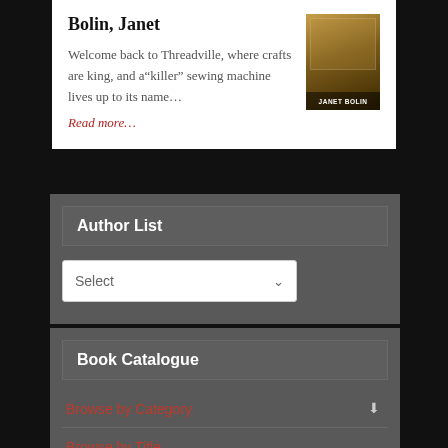Bolin, Janet
Welcome back to Threadville, where crafts are king, and a “killer” sewing machine lives up to its name…
Read more…
[Figure (photo): Book cover for Janet Bolin, showing a house exterior scene]
Author List
Select
Book Catalogue
Browse by Category
Browse by Title